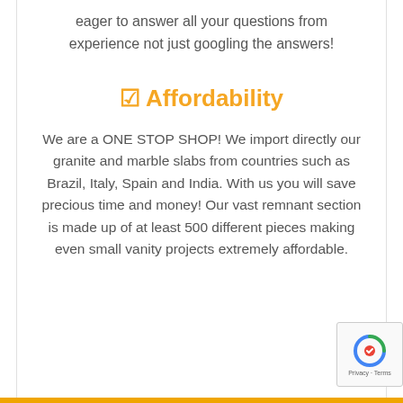eager to answer all your questions from experience not just googling the answers!
☑ Affordability
We are a ONE STOP SHOP! We import directly our granite and marble slabs from countries such as Brazil, Italy, Spain and India. With us you will save precious time and money! Our vast remnant section is made up of at least 500 different pieces making even small vanity projects extremely affordable.